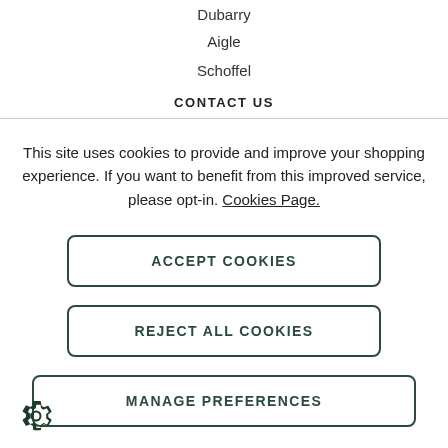Dubarry
Aigle
Schoffel
CONTACT US
This site uses cookies to provide and improve your shopping experience. If you want to benefit from this improved service, please opt-in. Cookies Page.
ACCEPT COOKIES
REJECT ALL COOKIES
MANAGE PREFERENCES